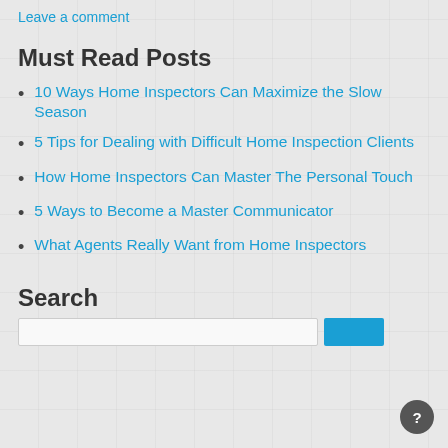Leave a comment
Must Read Posts
10 Ways Home Inspectors Can Maximize the Slow Season
5 Tips for Dealing with Difficult Home Inspection Clients
How Home Inspectors Can Master The Personal Touch
5 Ways to Become a Master Communicator
What Agents Really Want from Home Inspectors
Search